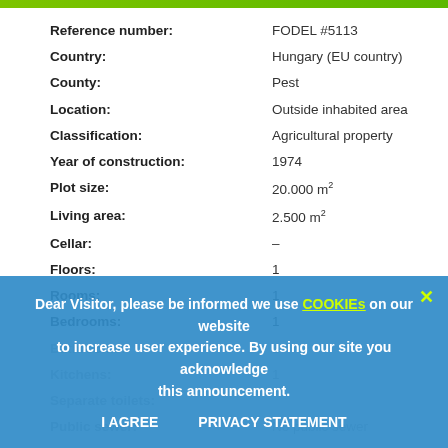| Reference number: | FODEL #5113 |
| Country: | Hungary (EU country) |
| County: | Pest |
| Location: | Outside inhabited area |
| Classification: | Agricultural property |
| Year of construction: | 1974 |
| Plot size: | 20.000 m² |
| Living area: | 2.500 m² |
| Cellar: | – |
| Floors: | 1 |
| Rooms: | 1 |
| Bedrooms: | 1 |
| Bathrooms: | 1 |
| Kitchens: | 1 |
| Separate toilets: |  |
| Public sewer: | No public sewer |
| Gas: | Connected |
| Electricity: | Available |
| Internet: | Available |
Dear Visitor, please be informed we use COOKIEs on our website to increase user experience. By using our site you acknowledge this announcement.
I AGREE   PRIVACY STATEMENT